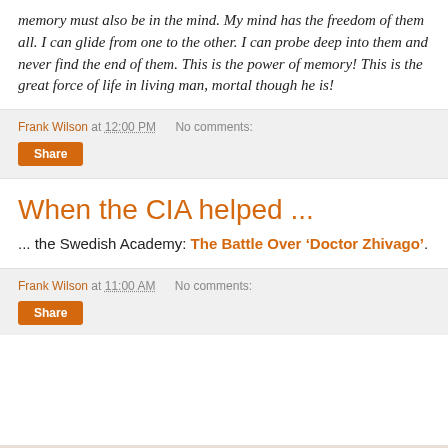memory must also be in the mind. My mind has the freedom of them all. I can glide from one to the other. I can probe deep into them and never find the end of them. This is the power of memory! This is the great force of life in living man, mortal though he is!
Frank Wilson at 12:00 PM   No comments:
Share
When the CIA helped ...
... the Swedish Academy: The Battle Over ‘Doctor Zhivago’.
Frank Wilson at 11:00 AM   No comments:
Share